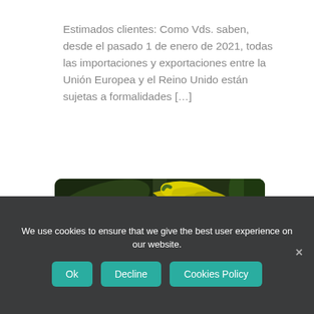Estimados clientes: Como Vds. saben, desde el pasado 1 de enero de 2021, todas las importaciones y exportaciones entre la Unión Europea y el Reino Unido están sujetas a formalidades […]
[Figure (photo): Close-up photo of bananas and other tropical fruits with green and yellow colors]
We use cookies to ensure that we give the best user experience on our website.